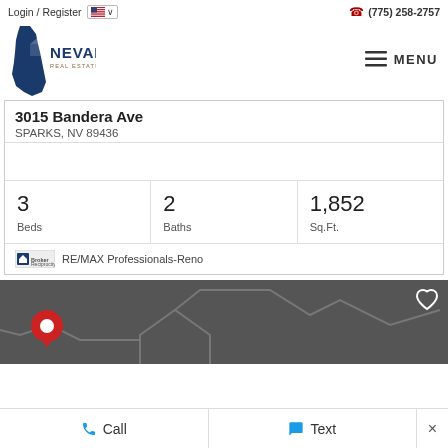Login / Register  (775) 258-2757
[Figure (logo): Nevada Real Estate Group logo with Nevada state outline and MENU hamburger button]
3015 Bandera Ave
SPARKS, NV 89436
| Beds | Baths | Sq.Ft. |
| --- | --- | --- |
| 3 | 2 | 1,852 |
RE/MAX Professionals-Reno
[Figure (map): Dark map section with house outline silhouette and red map pin, heart/favorite icon in top right]
Call   Text   ×